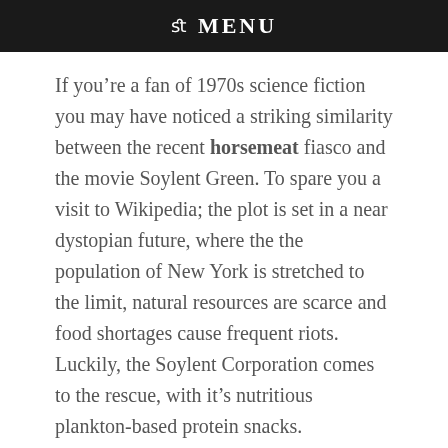fi MENU
If you’re a fan of 1970s science fiction you may have noticed a striking similarity between the recent horsemeat fiasco and the movie Soylent Green. To spare you a visit to Wikipedia; the plot is set in a near dystopian future, where the the population of New York is stretched to the limit, natural resources are scarce and food shortages cause frequent riots. Luckily, the Soylent Corporation comes to the rescue, with it’s nutritious plankton-based protein snacks. Unsurprisingly it all turns out to be a big corporate lie; theres no plankton left in the sea, instead they’ve been feeding the population human remains. A breach of the Trade Descriptions Act if ever I heard one.